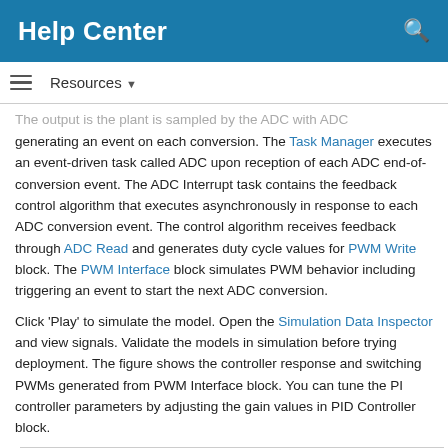Help Center
Resources ▾
The output is the plant is sampled by the ADC with ADC generating an event on each conversion. The Task Manager executes an event-driven task called ADC upon reception of each ADC end-of-conversion event. The ADC Interrupt task contains the feedback control algorithm that executes asynchronously in response to each ADC conversion event. The control algorithm receives feedback through ADC Read and generates duty cycle values for PWM Write block. The PWM Interface block simulates PWM behavior including triggering an event to start the next ADC conversion.
Click 'Play' to simulate the model. Open the Simulation Data Inspector and view signals. Validate the models in simulation before trying deployment. The figure shows the controller response and switching PWMs generated from PWM Interface block. You can tune the PI controller parameters by adjusting the gain values in PID Controller block.
[Figure (continuous-plot): Partial view of a simulation data chart, cut off at bottom of page. Shows a waveform plot with gridlines and a step response curve.]